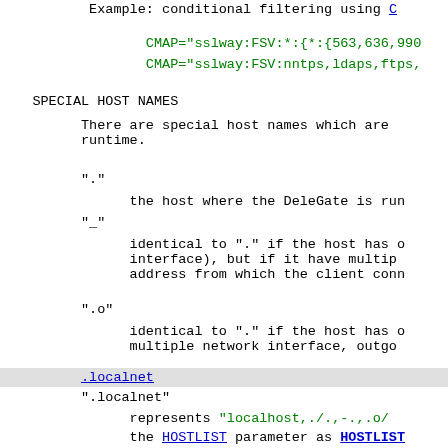Example: conditional filtering using C
CMAP="sslway:FSV:*:{*:{563,636,990
CMAP="sslway:FSV:nntps,ldaps,ftps,
SPECIAL HOST NAMES
There are special host names which are
runtime.
"."
the host where the DeleGate is run
"_"
identical to "." if the host has o
interface), but if it have multip
address from which the client conn
".o"
identical to "." if the host has o
multiple network interface, outgo
.localnet
".localnet"
represents "localhost,./.,-.,.o/
the HOSTLIST parameter as HOSTLIST
".C" or "-C"
the client host which may be usefu
only to the client (network)